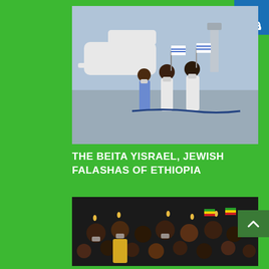[Figure (photo): Group of Ethiopian Jewish people at an airport tarmac, wearing face masks, waving Israeli flags, with an airplane in the background.]
THE BEITA YISRAEL, JEWISH FALASHAS OF ETHIOPIA
[Figure (photo): Large crowd of Ethiopian people wearing face masks, holding candles and flags, gathered together at a nighttime event.]